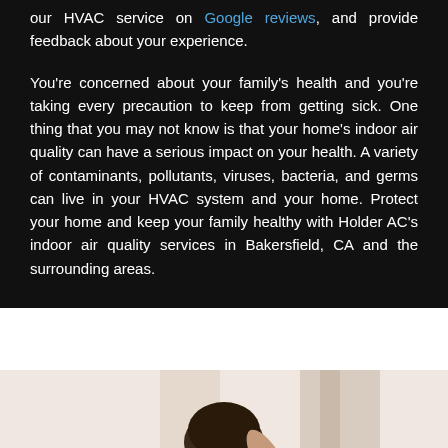our HVAC service on Google reviews, and provide feedback about your experience.
You're concerned about your family's health and you're taking every precaution to keep from getting sick. One thing that you may not know is that your home's indoor air quality can have a serious impact on your health. A variety of contaminants, pollutants, viruses, bacteria, and germs can live in your HVAC system and your home. Protect your home and keep your family healthy with Holder AC's indoor air quality services in Bakersfield, CA and the surrounding areas.
[Figure (photo): Photo of a person, partially visible, cropped at the bottom of the page against a light beige/neutral background]